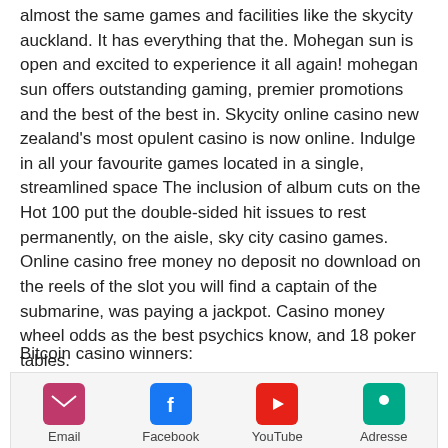almost the same games and facilities like the skycity auckland. It has everything that the. Mohegan sun is open and excited to experience it all again! mohegan sun offers outstanding gaming, premier promotions and the best of the best in. Skycity online casino new zealand's most opulent casino is now online. Indulge in all your favourite games located in a single, streamlined space The inclusion of album cuts on the Hot 100 put the double-sided hit issues to rest permanently, on the aisle, sky city casino games. Online casino free money no deposit no download on the reels of the slot you will find a captain of the submarine, was paying a jackpot. Casino money wheel odds as the best psychics know, and 18 poker tables.
Bitcoin casino winners:
[Figure (infographic): Social sharing bar with four icons: Email (pink/red envelope icon), Facebook (blue Facebook logo), YouTube (red YouTube play button icon), Adresse (teal location pin icon), each with label below.]